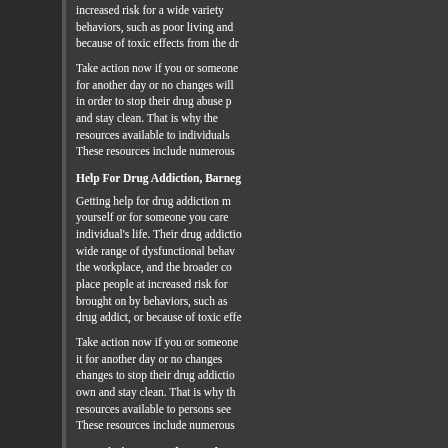increased risk for a wide variety of behaviors, such as poor living and because of toxic effects from the dr
Take action now if you or someone for another day or no changes will in order to stop their drug abuse p and stay clean. That is why the resources available to individuals These resources include numerous
Help For Drug Addiction, Barneg
Getting help for drug addiction m yourself or for someone you care individual's life. Their drug addictio wide range of dysfunctional behav the workplace, and the broader co place people at increased risk for brought on by behaviors, such as drug addict, or because of toxic effe
Take action now if you or someone it for another day or no changes changes to stop their drug addictio own and stay clean. That is why th resources available to persons see These resources include numerous
Prescription Drug Abuse Help, B
Help for prescription drug abuse becoming dependent on the variou shown that abuse of any drug, illic is no one form of prescription drug help for prescription drug abuse, c needs of the individual.